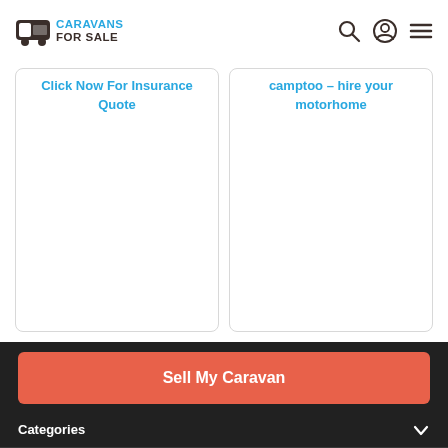CARAVANS FOR SALE
Click Now For Insurance Quote
Camptoo – Hire your motorhome
Sell My Caravan
Categories
Can we help?
Subscribe to our newsletter